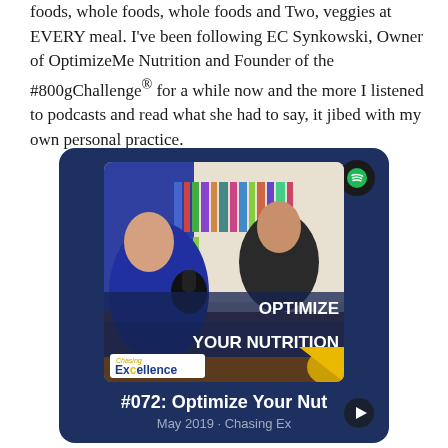foods, whole foods, whole foods and Two, veggies at EVERY meal. I've been following EC Synkowski, Owner of OptimizeMe Nutrition and Founder of the #800gChallenge® for a while now and the more I listened to podcasts and read what she had to say, it jibed with my own personal practice.
[Figure (screenshot): Spotify podcast card with dark blue background showing podcast episode #072: Optimize Your Nutrition from Chasing Excellence, May 2019. Thumbnail shows two people in conversation with text overlay 'OPTIMIZE YOUR NUTRITION'.]